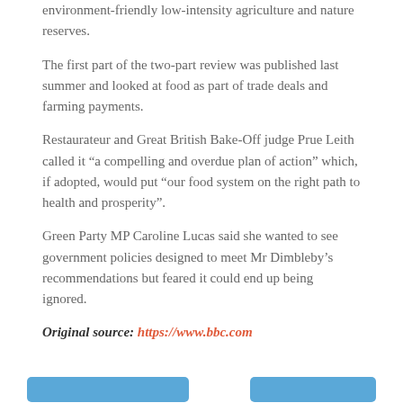environment-friendly low-intensity agriculture and nature reserves.
The first part of the two-part review was published last summer and looked at food as part of trade deals and farming payments.
Restaurateur and Great British Bake-Off judge Prue Leith called it “a compelling and overdue plan of action” which, if adopted, would put “our food system on the right path to health and prosperity”.
Green Party MP Caroline Lucas said she wanted to see government policies designed to meet Mr Dimbleby’s recommendations but feared it could end up being ignored.
Original source: https://www.bbc.com